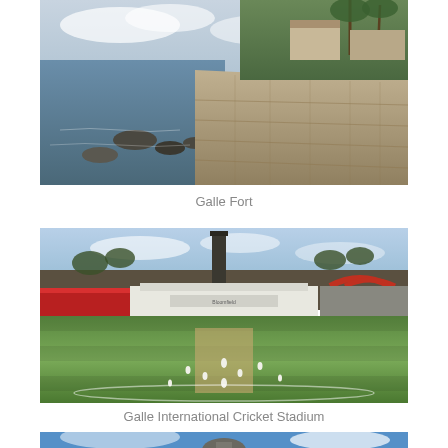[Figure (photo): Aerial view of Galle Fort coastal stone walls with sea and rocks in background, buildings and palm trees visible]
Galle Fort
[Figure (photo): Galle International Cricket Stadium with players on the green pitch, fort walls and lighthouse tower in background, colorful spectator stands on sides]
Galle International Cricket Stadium
[Figure (photo): Partial view of a lighthouse or tower against blue sky (cropped at bottom of page)]